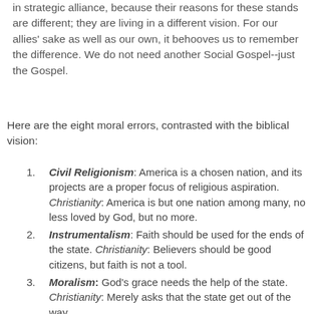in strategic alliance, because their reasons for these stands are different; they are living in a different vision. For our allies' sake as well as our own, it behooves us to remember the difference. We do not need another Social Gospel--just the Gospel.
Here are the eight moral errors, contrasted with the biblical vision:
Civil Religionism: America is a chosen nation, and its projects are a proper focus of religious aspiration. Christianity: America is but one nation among many, no less loved by God, but no more.
Instrumentalism: Faith should be used for the ends of the state. Christianity: Believers should be good citizens, but faith is not a tool.
Moralism: God's grace needs the help of the state. Christianity: Merely asks that the state get out of the way.